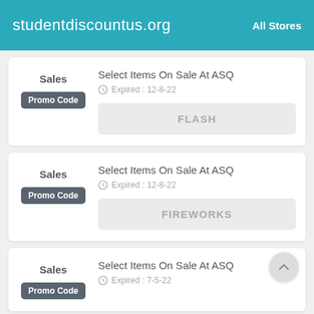studentdiscountus.org   All Stores
Sales
Select Items On Sale At ASQ
Expired : 12-8-22
Promo Code
FLASH
Sales
Select Items On Sale At ASQ
Expired : 12-8-22
Promo Code
FIREWORKS
Sales
Select Items On Sale At ASQ
Expired : 7-5-22
Promo Code